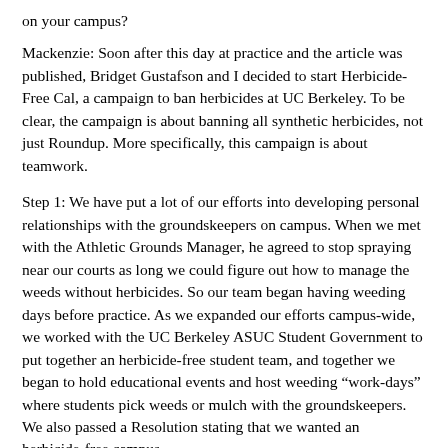on your campus?
Mackenzie: Soon after this day at practice and the article was published, Bridget Gustafson and I decided to start Herbicide-Free Cal, a campaign to ban herbicides at UC Berkeley. To be clear, the campaign is about banning all synthetic herbicides, not just Roundup. More specifically, this campaign is about teamwork.
Step 1: We have put a lot of our efforts into developing personal relationships with the groundskeepers on campus. When we met with the Athletic Grounds Manager, he agreed to stop spraying near our courts as long we could figure out how to manage the weeds without herbicides. So our team began having weeding days before practice. As we expanded our efforts campus-wide, we worked with the UC Berkeley ASUC Student Government to put together an herbicide-free student team, and together we began to hold educational events and host weeding “work-days” where students pick weeds or mulch with the groundskeepers. We also passed a Resolution stating that we wanted an herbicide-free campus.
Step 2: Beyond Pesticides: Thanks to Parents for a Safer Environment, who heard about us from the Op-Ed, we were given a grant that allowed Beyond Pesticides to come to UC Berkeley, and bring Professional Horticulturist Chip Osborne to teach the